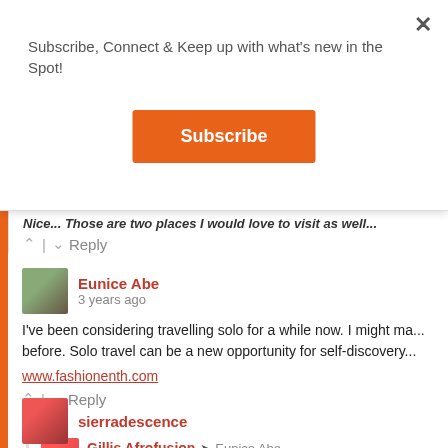Subscribe, Connect & Keep up with what's new in the Spot!
Subscribe
Nice... Those are two places I would love to visit as well...
Reply
Eunice Abe · 3 years ago
I've been considering travelling solo for a while now. I might ma... before. Solo travel can be a new opportunity for self-discovery...
www.fashionenth.com
Reply
Gillis Afrofusion → Eunice Abe · 3 years ago
I agree about it helping with self discovery! Amsterdam is de...
Reply
sierradescence